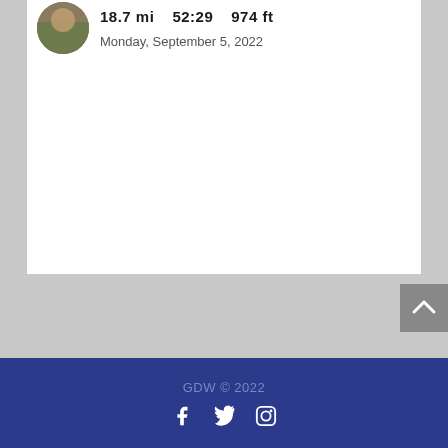18.7 mi   52:29   974 ft
Monday, September 5, 2022
GDW © 2022